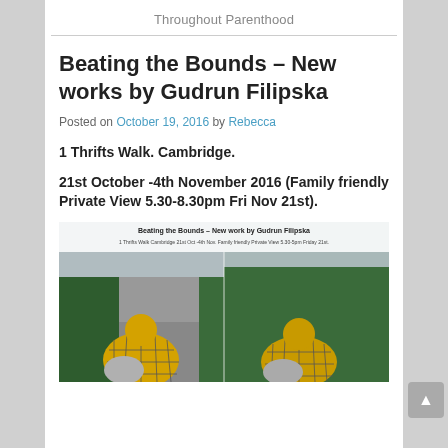Throughout Parenthood
Beating the Bounds – New works by Gudrun Filipska
Posted on October 19, 2016 by Rebecca
1 Thrifts Walk. Cambridge.
21st October -4th November 2016 (Family friendly Private View 5.30-8.30pm Fri Nov 21st).
[Figure (photo): Exhibition poster showing two children in yellow quilted jackets viewed from behind, next to a hedge. Text reads: Beating the Bounds – New work by Gudrun Filipska. 1 Thrifts Walk Cambridge 21st Oct -4th Nov. Family friendly Private View 5.30-5pm Friday 21st.]